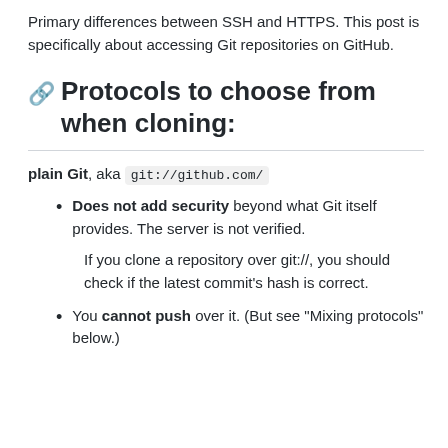Primary differences between SSH and HTTPS. This post is specifically about accessing Git repositories on GitHub.
Protocols to choose from when cloning:
plain Git, aka git://github.com/
Does not add security beyond what Git itself provides. The server is not verified.

If you clone a repository over git://, you should check if the latest commit's hash is correct.
You cannot push over it. (But see "Mixing protocols" below.)